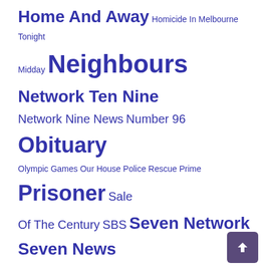Home And Away Homicide In Melbourne Tonight Midday Neighbours Network Ten Nine Network Nine News Number 96 Obituary Olympic Games Our House Police Rescue Prime Prisoner Sale Of The Century SBS Seven Network Seven News Southern Cross Ten News The Flying Doctors The Great Outdoors The Sullivans The Young Doctors Today TV Week Logie Awards WIN
RECENT COMMENTS
Andrew B on 50 years of TNT9 Launceston
Debbie Clarke on 50 years of TNT9 Launceston
Herbie on 1970-1979
Herbie on 1970-1979